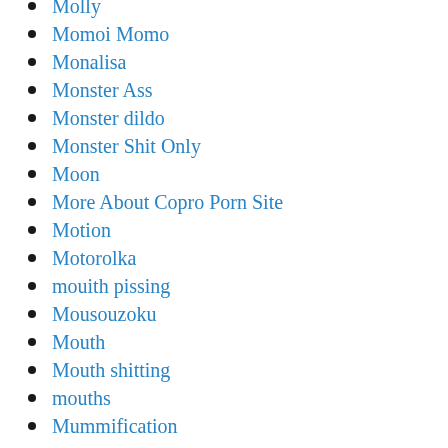Molly
Momoi Momo
Monalisa
Monster Ass
Monster dildo
Monster Shit Only
Moon
More About Copro Porn Site
Motion
Motorolka
mouith pissing
Mousouzoku
Mouth
Mouth shitting
mouths
Mummification